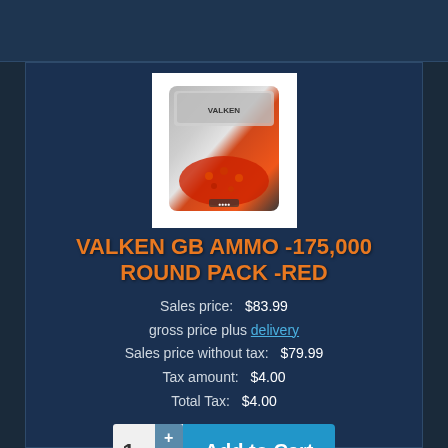[Figure (photo): Product photo of Valken GB Ammo 175,000 Round Pack in red packaging, shown in a clear resealable bag with red airsoft BBs inside]
VALKEN GB AMMO -175,000 ROUND PACK -RED
Sales price: $83.99
gross price plus delivery
Sales price without tax: $79.99
Tax amount: $4.00
Total Tax: $4.00
1  +  -  Add to Cart
Product details